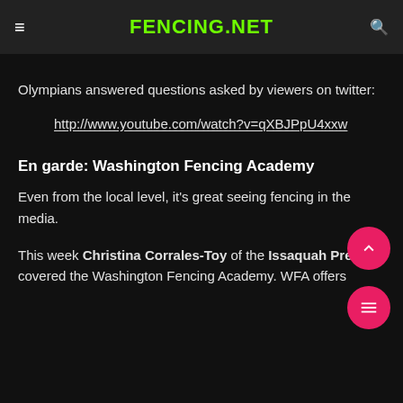FENCING.NET
Olympians answered questions asked by viewers on twitter:
http://www.youtube.com/watch?v=qXBJPpU4xxw
En garde: Washington Fencing Academy
Even from the local level, it's great seeing fencing in the media.
This week Christina Corrales-Toy of the Issaquah Press covered the Washington Fencing Academy. WFA offers